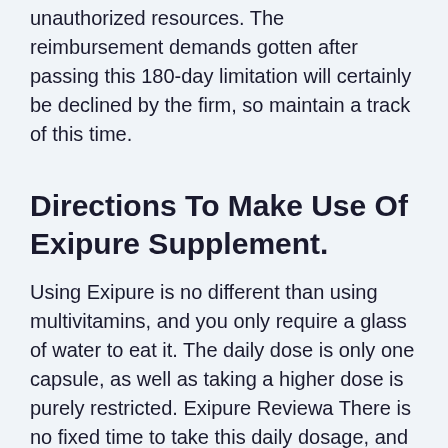unauthorized resources. The reimbursement demands gotten after passing this 180-day limitation will certainly be declined by the firm, so maintain a track of this time.
Directions To Make Use Of Exipure Supplement.
Using Exipure is no different than using multivitamins, and you only require a glass of water to eat it. The daily dose is only one capsule, as well as taking a higher dose is purely restricted. Exipure Reviewa There is no fixed time to take this daily dosage, and you can take it whenever of the day. Nonetheless, it is better to take care of a time to eat it to make sure that you do not forget or